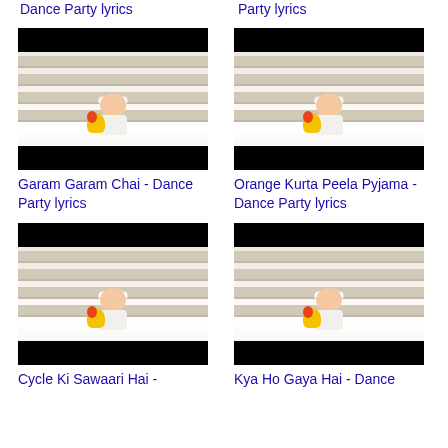Dance Party lyrics
Party lyrics
[Figure (photo): Baby sitting in white outfit with flower, black bars top and bottom (video thumbnail)]
Garam Garam Chai - Dance Party lyrics
[Figure (photo): Baby sitting in white outfit with flower, black bars top and bottom (video thumbnail)]
Orange Kurta Peela Pyjama - Dance Party lyrics
[Figure (photo): Baby sitting in white outfit with flower, black bars top and bottom (video thumbnail)]
Cycle Ki Sawaari Hai -
[Figure (photo): Baby sitting in white outfit with flower, black bars top and bottom (video thumbnail)]
Kya Ho Gaya Hai - Dance